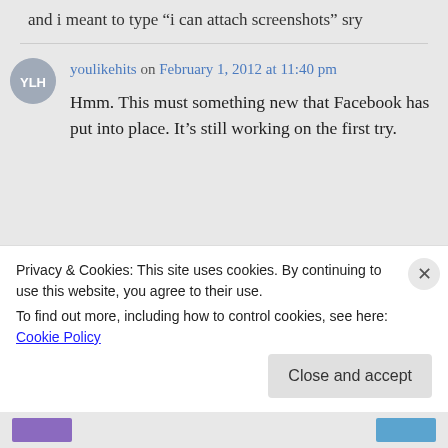and i meant to type “i can attach screenshots” sry
youlikehits on February 1, 2012 at 11:40 pm
Hmm. This must something new that Facebook has put into place. It’s still working on the first try.
Privacy & Cookies: This site uses cookies. By continuing to use this website, you agree to their use.
To find out more, including how to control cookies, see here: Cookie Policy
Close and accept